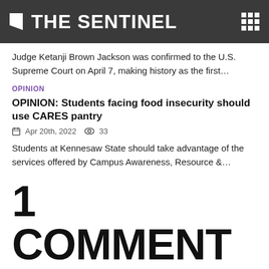THE SENTINEL
Judge Ketanji Brown Jackson was confirmed to the U.S. Supreme Court on April 7, making history as the first…
OPINION
OPINION: Students facing food insecurity should use CARES pantry
Apr 20th, 2022   33
Students at Kennesaw State should take advantage of the services offered by Campus Awareness, Resource &…
1 COMMENT
DrRoblee   January 18, 2017 at 11:19 am
Calm down, dude.